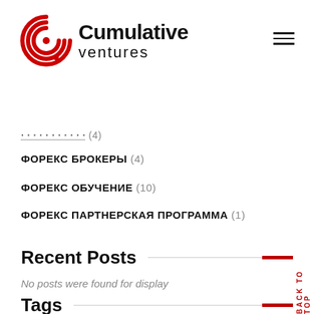[Figure (logo): Cumulative Ventures logo with red circular arc icon and company name]
... (4)
ФОРЕКС БРОКЕРЫ (4)
ФОРЕКС ОБУЧЕНИЕ (10)
ФОРЕКС ПАРТНЕРСКАЯ ПРОГРАММА (1)
Recent Posts
No posts were found for display
Tags
ANALYSIS
BUSINESS
COUNSALTING
FINANCE